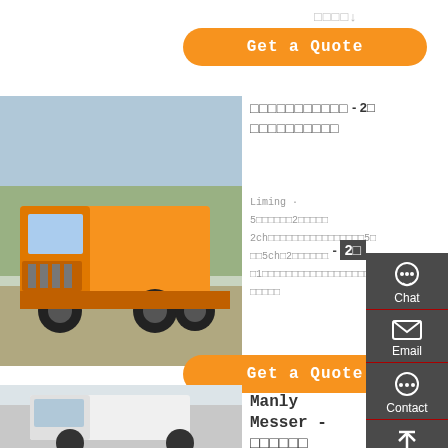□□□□↓ □□□□□□□□
[Figure (other): Orange button: Get a Quote]
[Figure (photo): Orange heavy-duty truck (tractor unit) parked in a yard with trees in background]
□□□□□□□□□□□ - 2□ □□□□□□□□□□
Liming · 5□□□□□□□2□□□□□ 2ch□□□□□□□□□□□□□□□□□5□□□□5ch□2□□□□□□2ch□□□□□1□□□□□□□□□□□□□□□□□□□□□□□□□□□□□□□
[Figure (other): Orange button: Get a Quote]
[Figure (photo): White truck partially visible at bottom of page]
Manly Messer -
[Figure (other): Sidebar with Chat, Email, Contact, Top navigation icons on dark grey background]